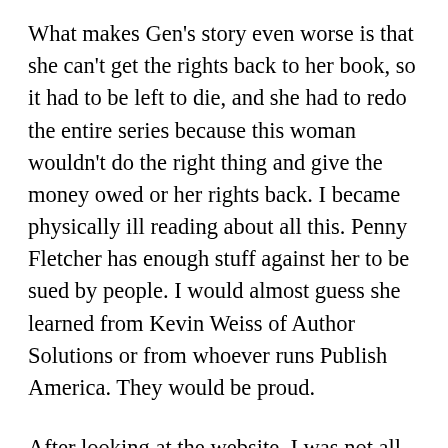What makes Gen's story even worse is that she can't get the rights back to her book, so it had to be left to die, and she had to redo the entire series because this woman wouldn't do the right thing and give the money owed or her rights back. I became physically ill reading about all this. Penny Fletcher has enough stuff against her to be sued by people. I would almost guess she learned from Kevin Weiss of Author Solutions or from whoever runs Publish America. They would be proud.
After looking at the website, I was not all that impressed. It was barebones at best. Not forthcoming on information and a lot of information is just missing. Traditional